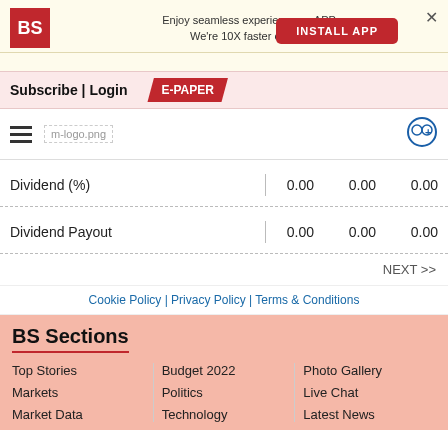[Figure (screenshot): Business Standard app install banner with BS logo, promotional text, and INSTALL APP button]
Subscribe | Login  E-PAPER
[Figure (logo): m-logo.png navigation bar with hamburger menu and user icon]
|  |  |  |  |
| --- | --- | --- | --- |
| Dividend (%) |  | 0.00 | 0.00 | 0.00 |
| Dividend Payout |  | 0.00 | 0.00 | 0.00 |
NEXT >>
Cookie Policy | Privacy Policy | Terms & Conditions
BS Sections
Top Stories
Markets
Market Data
Budget 2022
Politics
Personal Finance
Photo Gallery
Live Chat
Latest News